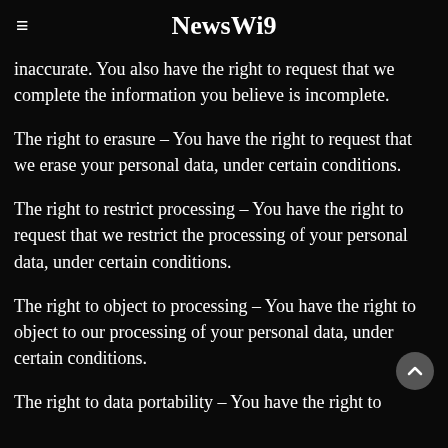≡ NewsWi9
inaccurate. You also have the right to request that we complete the information you believe is incomplete.
The right to erasure – You have the right to request that we erase your personal data, under certain conditions.
The right to restrict processing – You have the right to request that we restrict the processing of your personal data, under certain conditions.
The right to object to processing – You have the right to object to our processing of your personal data, under certain conditions.
The right to data portability – You have the right to